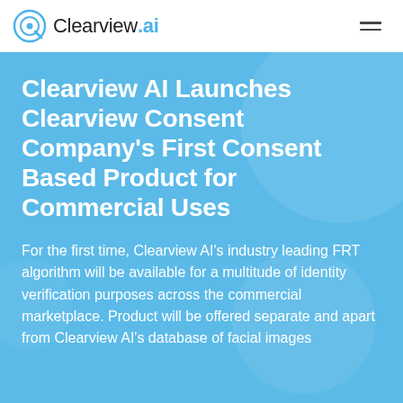Clearview.ai
Clearview AI Launches Clearview Consent Company’s First Consent Based Product for Commercial Uses
For the first time, Clearview AI’s industry leading FRT algorithm will be available for a multitude of identity verification purposes across the commercial marketplace. Product will be offered separate and apart from Clearview AI’s database of facial images